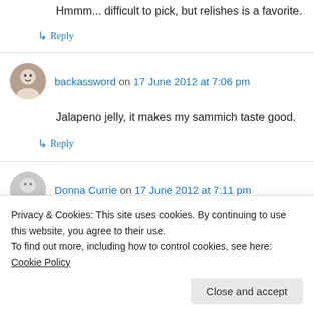Hmmm... difficult to pick, but relishes is a favorite.
↳ Reply
backassword on 17 June 2012 at 7:06 pm
Jalapeno jelly, it makes my sammich taste good.
↳ Reply
Donna Currie on 17 June 2012 at 7:11 pm
Privacy & Cookies: This site uses cookies. By continuing to use this website, you agree to their use. To find out more, including how to control cookies, see here: Cookie Policy
Close and accept